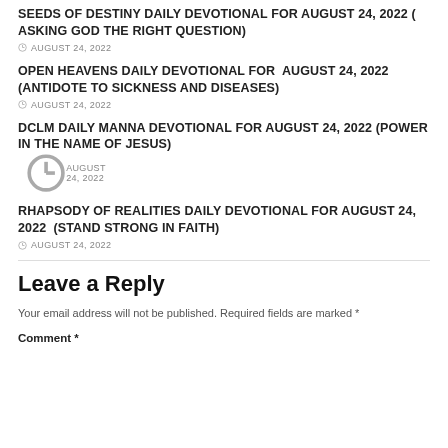SEEDS OF DESTINY DAILY DEVOTIONAL FOR AUGUST 24, 2022 ( ASKING GOD THE RIGHT QUESTION)
AUGUST 24, 2022
OPEN HEAVENS DAILY DEVOTIONAL FOR  AUGUST 24, 2022 (ANTIDOTE TO SICKNESS AND DISEASES)
AUGUST 24, 2022
DCLM DAILY MANNA DEVOTIONAL FOR AUGUST 24, 2022 (POWER IN THE NAME OF JESUS)
AUGUST 24, 2022
RHAPSODY OF REALITIES DAILY DEVOTIONAL FOR AUGUST 24, 2022  (STAND STRONG IN FAITH)
AUGUST 24, 2022
Leave a Reply
Your email address will not be published. Required fields are marked *
Comment *